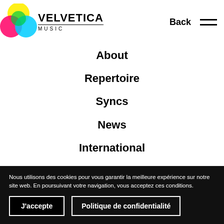Velvetica Music — Back
About
Repertoire
Syncs
News
International
Music delights
Composers
Nous utilisons des cookies pour vous garantir la meilleure expérience sur notre site web. En poursuivant votre navigation, vous acceptez ces conditions.
J'accepte | Politique de confidentialité